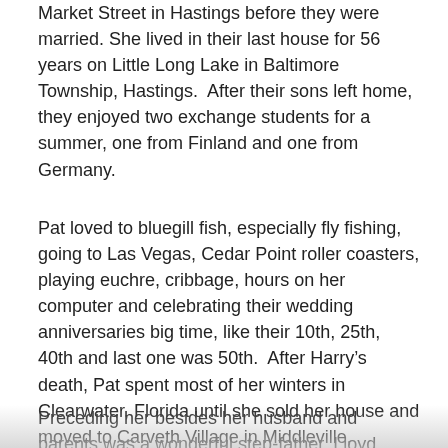Market Street in Hastings before they were married. She lived in their last house for 56 years on Little Long Lake in Baltimore Township, Hastings.  After their sons left home, they enjoyed two exchange students for a summer, one from Finland and one from Germany.
Pat loved to bluegill fish, especially fly fishing, going to Las Vegas, Cedar Point roller coasters, playing euchre, cribbage, hours on her computer and celebrating their wedding anniversaries big time, like their 10th, 25th, 40th and last one was 50th.  After Harry’s death, Pat spent most of her winters in Clearwater, Florida until she sold her house and moved to Carveth Village in Middleville, Michigan in 2016.
Preceding her besides her husband and parents was a wonderful step-father, Lloyd Wilkins, sisters: Jane